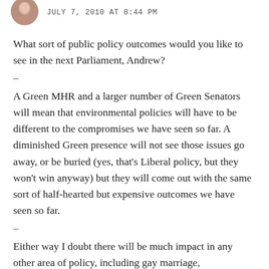JULY 7, 2010 AT 8:44 PM
What sort of public policy outcomes would you like to see in the next Parliament, Andrew?
–
A Green MHR and a larger number of Green Senators will mean that environmental policies will have to be different to the compromises we have seen so far. A diminished Green presence will not see those issues go away, or be buried (yes, that's Liberal policy, but they won't win anyway) but they will come out with the same sort of half-hearted but expensive outcomes we have seen so far.
–
Either way I doubt there will be much impact in any other area of policy, including gay marriage,